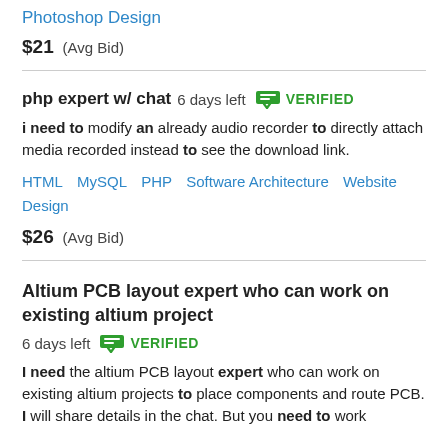Photoshop Design
$21  (Avg Bid)
php expert w/ chat  6 days left  VERIFIED
i need to modify an already audio recorder to directly attach media recorded instead to see the download link.
HTML  MySQL  PHP  Software Architecture  Website Design
$26  (Avg Bid)
Altium PCB layout expert who can work on existing altium project  6 days left  VERIFIED
I need the altium PCB layout expert who can work on existing altium projects to place components and route PCB. I will share details in the chat. But you need to work